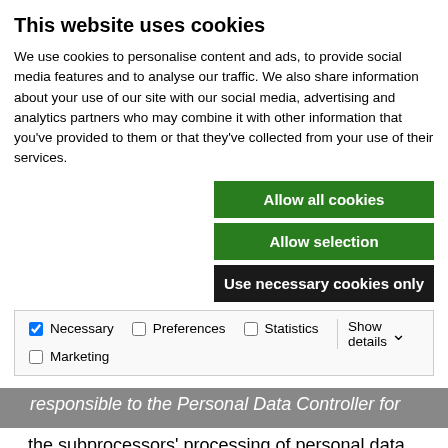This website uses cookies
We use cookies to personalise content and ads, to provide social media features and to analyse our traffic. We also share information about your use of our site with our social media, advertising and analytics partners who may combine it with other information that you’ve provided to them or that they’ve collected from your use of their services.
Allow all cookies
Allow selection
Use necessary cookies only
| Necessary | Preferences | Statistics | Marketing | Show details |
| --- | --- | --- | --- | --- |
responsible to the Personal Data Controller for the subprocessors’ processing of personal data. The Personal Data Processor must be able to provide a list of subprocessors at the Personal Data Controller’s request.
(i) The Personal Data Processor is not permitted